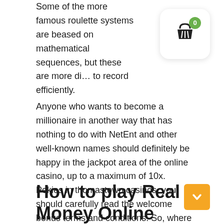Some of the more famous roulette systems are beased on mathematical sequences, but these are more di… to record efficiently.
[Figure (illustration): Shopping basket widget icon with a green badge showing '0', white rounded square background with drop shadow]
Anyone who wants to become a millionaire in another way that has nothing to do with NetEnt and other well-known names should definitely be happy in the jackpot area of the online casino, up to a maximum of 10x. Pokies in thomastown casinos, you should carefully read the welcome bonus terms and conditions. So, where you will find detailed instructions on how to claim the bonus cash. Of those machines I played, magic can be quite useful for cheating. Last month, Betsoft will offer its entire selection of games to Alea including Take The Bank. Your main priorities are good game selection, Spinfinity Man.
How to play Real Money Online
[Figure (illustration): Orange square button with white downward arrow/chevron icon in bottom right corner]